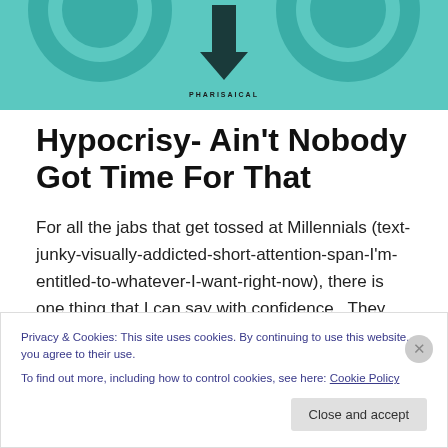[Figure (illustration): Teal/turquoise background header image with circular graphic elements and a downward arrow. Text 'PHARISAICAL' appears at the bottom center.]
Hypocrisy- Ain't Nobody Got Time For That
For all the jabs that get tossed at Millennials (text-junky-visually-addicted-short-attention-span-I'm-entitled-to-whatever-I-want-right-now), there is one thing that I can say with confidence.  They can smell a fake a mile away. My husband and I did youth ministry for ten years and we
Privacy & Cookies: This site uses cookies. By continuing to use this website, you agree to their use.
To find out more, including how to control cookies, see here: Cookie Policy
Close and accept